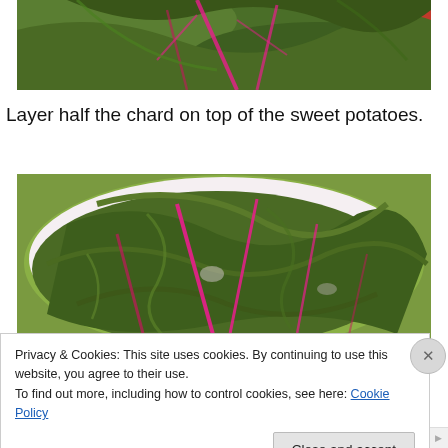[Figure (photo): Close-up photo of dark green chard leaves with bright pink/magenta stems and veins, on a pink/red surface]
Layer half the chard on top of the sweet potatoes.
[Figure (photo): Photo of chopped chard leaves with pink stems in a white bowl or colander, viewed from above]
Privacy & Cookies: This site uses cookies. By continuing to use this website, you agree to their use.
To find out more, including how to control cookies, see here: Cookie Policy
Close and accept